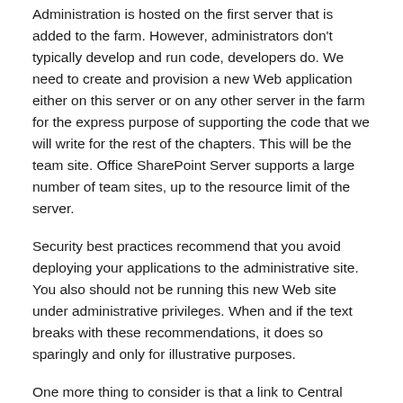Administration is hosted on the first server that is added to the farm. However, administrators don't typically develop and run code, developers do. We need to create and provision a new Web application either on this server or on any other server in the farm for the express purpose of supporting the code that we will write for the rest of the chapters. This will be the team site. Office SharePoint Server supports a large number of team sites, up to the resource limit of the server.
Security best practices recommend that you avoid deploying your applications to the administrative site. You also should not be running this new Web site under administrative privileges. When and if the text breaks with these recommendations, it does so sparingly and only for illustrative purposes.
One more thing to consider is that a link to Central Administration can be found in Administrative Tools on the